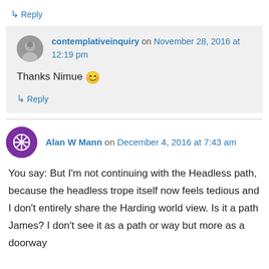↳ Reply
contemplativeinquiry on November 28, 2016 at 12:19 pm
Thanks Nimue 😊
↳ Reply
Alan W Mann on December 4, 2016 at 7:43 am
You say: But I'm not continuing with the Headless path, because the headless trope itself now feels tedious and I don't entirely share the Harding world view. Is it a path James? I don't see it as a path or way but more as a doorway